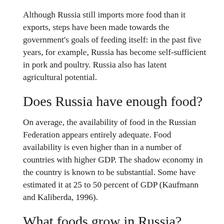Although Russia still imports more food than it exports, steps have been made towards the government's goals of feeding itself: in the past five years, for example, Russia has become self-sufficient in pork and poultry. Russia also has latent agricultural potential.
Does Russia have enough food?
On average, the availability of food in the Russian Federation appears entirely adequate. Food availability is even higher than in a number of countries with higher GDP. The shadow economy in the country is known to be substantial. Some have estimated it at 25 to 50 percent of GDP (Kaufmann and Kaliberda, 1996).
What foods grow in Russia?
The main crops grown in Russia as measured by area